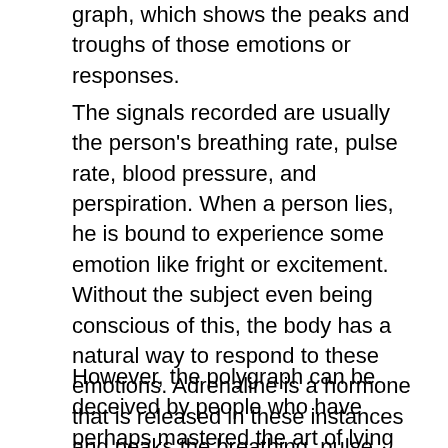graph, which shows the peaks and troughs of those emotions or responses.
The signals recorded are usually the person's breathing rate, pulse rate, blood pressure, and perspiration. When a person lies, he is bound to experience some emotion like fright or excitement. Without the subject even being conscious of this, the body has a natural way to respond to these emotions. Adrenaline is a hormone that is released in these instances and peaks the breathing, pulse blood pressure, and also brings about other changes in the body, which can also be detected.
However, the polygraph can be deceived by people who have perhaps mastered the art of lying or know other methods to fake emotions as described above. These factors were put to the test, and it